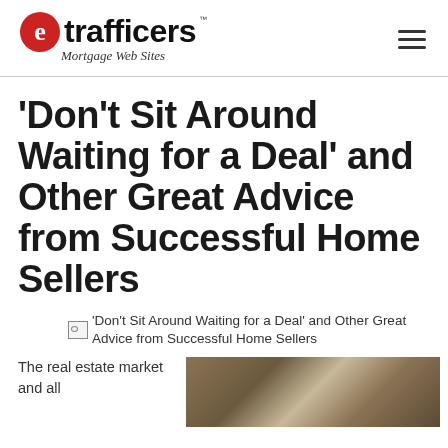etrafficers Mortgage Web Sites
'Don't Sit Around Waiting for a Deal' and Other Great Advice from Successful Home Sellers
[Figure (photo): Broken image placeholder with alt text: 'Don't Sit Around Waiting for a Deal' and Other Great Advice from Successful Home Sellers]
The real estate market and all
[Figure (photo): Partial photo of a home exterior, warm brown tones, bottom of page]